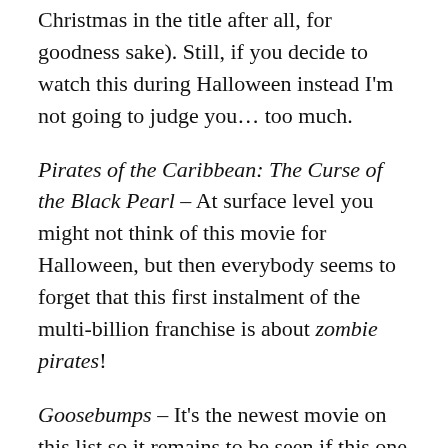Christmas in the title after all, for goodness sake). Still, if you decide to watch this during Halloween instead I'm not going to judge you… too much.
Pirates of the Caribbean: The Curse of the Black Pearl – At surface level you might not think of this movie for Halloween, but then everybody seems to forget that this first instalment of the multi-billion franchise is about zombie pirates!
Goosebumps – It's the newest movie on this list so it remains to be seen if this one is going to fade into obscurity or become a cult classic. But I was pretty impressed the